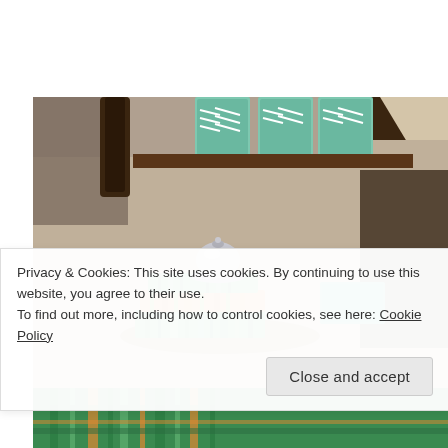[Figure (photo): Interior photo showing a wooden shelf with teal chevron-patterned canisters, a diagonal wooden beam or wall feature in warm neutral tones, and on a surface below a small silver bell or ashtray sitting atop colorful striped/plaid books or notebooks in green, orange, and blue. A dark blurry object appears at the right edge. The bottom strip shows colorful plaid fabric.]
Privacy & Cookies: This site uses cookies. By continuing to use this website, you agree to their use.
To find out more, including how to control cookies, see here: Cookie Policy
Close and accept